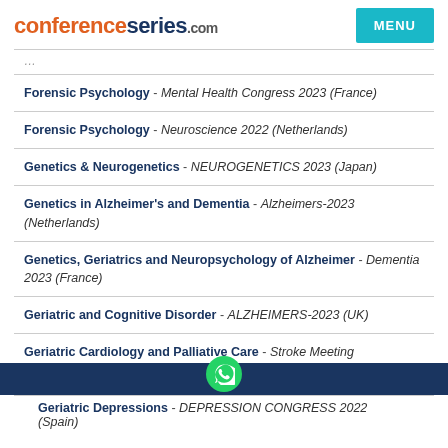conferenceseries.com | MENU
Forensic Psychology - Mental Health Congress 2023 (France)
Forensic Psychology - Neuroscience 2022 (Netherlands)
Genetics & Neurogenetics - NEUROGENETICS 2023 (Japan)
Genetics in Alzheimer's and Dementia - Alzheimers-2023 (Netherlands)
Genetics, Geriatrics and Neuropsychology of Alzheimer - Dementia 2023 (France)
Geriatric and Cognitive Disorder - ALZHEIMERS-2023 (UK)
Geriatric Cardiology and Palliative Care - Stroke Meeting
Geriatric Depressions - DEPRESSION CONGRESS 2022 (Spain)